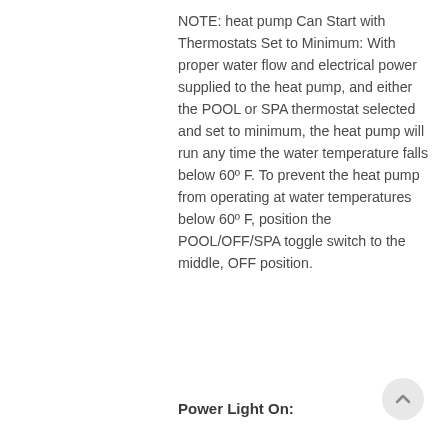NOTE: heat pump Can Start with Thermostats Set to Minimum: With proper water flow and electrical power supplied to the heat pump, and either the POOL or SPA thermostat selected and set to minimum, the heat pump will run any time the water temperature falls below 60º F. To prevent the heat pump from operating at water temperatures below 60º F, position the POOL/OFF/SPA toggle switch to the middle, OFF position.
Power Light On: